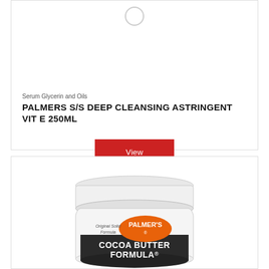[Figure (photo): Product loading spinner/circle icon at top of card for Palmer's deep cleansing astringent]
Serum Glycerin and Oils
PALMERS S/S DEEP CLEANSING ASTRINGENT VIT E 250ML
[Figure (illustration): Red 'View' button]
[Figure (photo): Palmer's Cocoa Butter Formula jar - Original Solid Formula, white lid, dark brown band with white text]